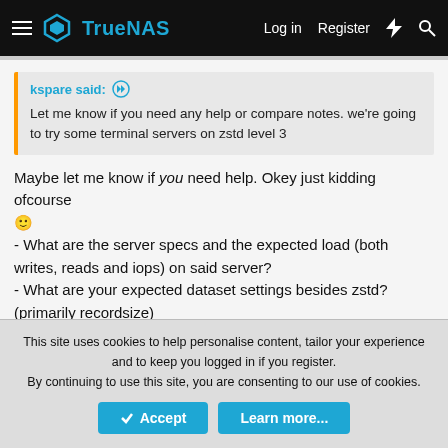TrueNAS — Log in   Register
kspare said: ↑
Let me know if you need any help or compare notes. we're going to try some terminal servers on zstd level 3
Maybe let me know if you need help. Okey just kidding ofcourse 🙂
- What are the server specs and the expected load (both writes, reads and iops) on said server?
- What are your expected dataset settings besides zstd? (primarily recordsize)

If it's mostly low blocksize reads, be aware a significant performance improvement to ZSTD is made in the latest 1.4.7
This site uses cookies to help personalise content, tailor your experience and to keep you logged in if you register.
By continuing to use this site, you are consenting to our use of cookies.